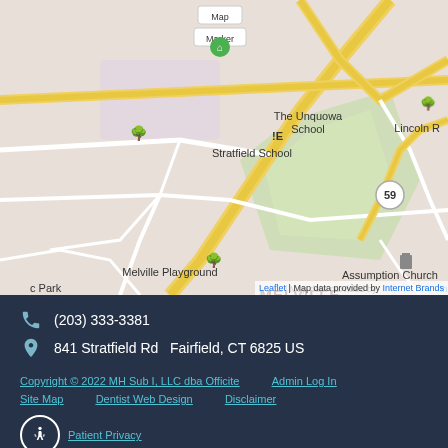[Figure (map): Street map showing Melville Village area in Fairfield, CT. Shows Stratfield School, The Unquowa School, Melville Playground, Assumption Church, Park Square, Lincoln area, and route 59. Map marker visible near top center. Attribution: Leaflet | Map data provided by Internet Brands.]
(203) 333-3381
841 Stratfield Rd  Fairfield, CT 6825 US
Copyright © 2022 MH Sub I, LLC dba Officite
Admin Log In
Site Map
Dentist Web Design
Disclaimer
Patient Privacy